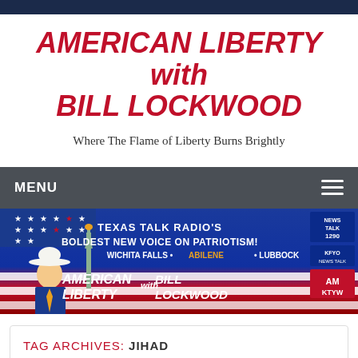AMERICAN LIBERTY with BILL LOCKWOOD
Where The Flame of Liberty Burns Brightly
MENU
[Figure (illustration): Texas Talk Radio promotional banner for American Liberty with Bill Lockwood. Text: TEXAS TALK RADIO'S BOLDEST NEW VOICE ON PATRIOTISM! WICHITA FALLS • ABILENE • LUBBOCK. Logos: NEWS TALK 1290, KFYO NEWS TALK, KTYW. American flag background with Statue of Liberty and man in white cowboy hat.]
TAG ARCHIVES: JIHAD